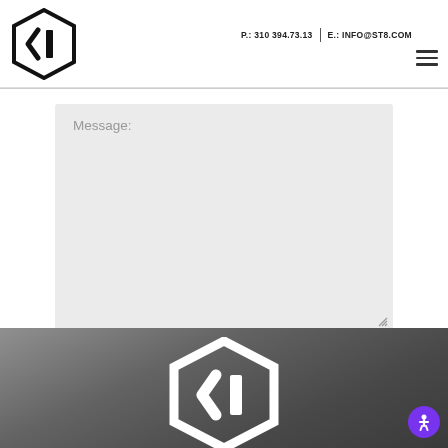P.: 310 394.73.13  |  E.: INFO@ST8.COM
[Figure (logo): Hexagonal ST8 logo mark in black outline with arrow/play symbol inside]
Message:
2 + 8 =
SUBMIT
[Figure (logo): White ST8 hexagonal logo on dark grey background at bottom of page]